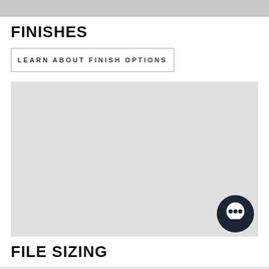FINISHES
LEARN ABOUT FINISH OPTIONS
[Figure (other): Large gray placeholder image/content area for finishes]
FILE SIZING